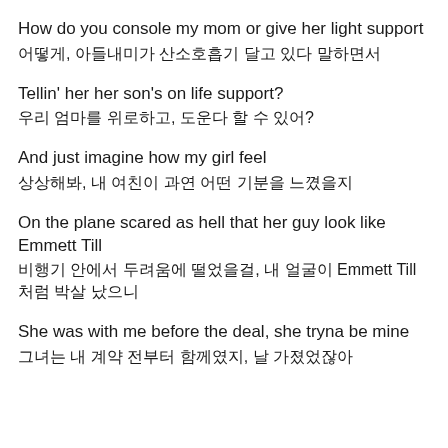How do you console my mom or give her light support
어떻게, 아들내미가 산소호흡기 달고 있다 말하면서
Tellin' her her son's on life support?
우리 엄마를 위로하고, 도운다 할 수 있어?
And just imagine how my girl feel
상상해봐, 내 여친이 과연 어떤 기분을 느꼈을지
On the plane scared as hell that her guy look like Emmett Till
비행기 안에서 두려움에 떨었을걸, 내 얼굴이 Emmett Till처럼 박살 났으니
She was with me before the deal, she tryna be mine
그녀는 내 계약 전부터 함께였지, 날 가졌었잖아